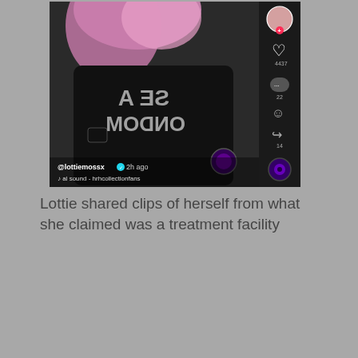[Figure (screenshot): TikTok screenshot showing a woman with pink hair wearing a black t-shirt with mirrored text reading 'USE A CONDOM', username @lottiemossx with blue verification check, posted 2h ago, with sound credit to hrhcollectionfans. Sidebar shows like count 4437, comment count 22, and a share icon.]
Lottie shared clips of herself from what she claimed was a treatment facility